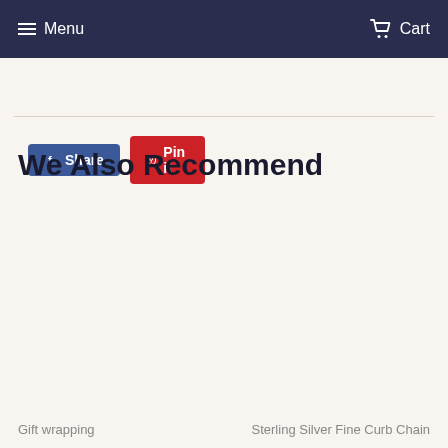Menu   Cart
[Figure (screenshot): Social share buttons: blue Facebook Share button and red Pinterest Pin it button]
We Also Recommend
Gift wrapping   Sterling Silver Fine Curb Chain